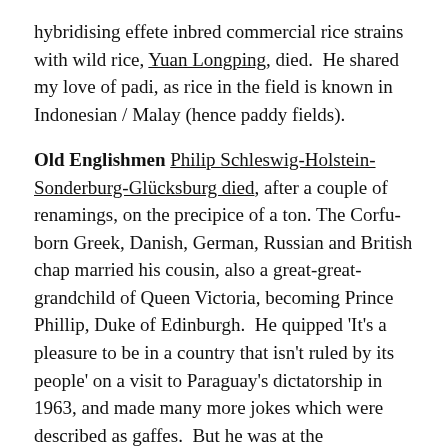hybridising effete inbred commercial rice strains with wild rice, Yuan Longping, died.  He shared my love of padi, as rice in the field is known in Indonesian / Malay (hence paddy fields).
Old Englishmen Philip Schleswig-Holstein-Sonderburg-Glücksburg died, after a couple of renamings, on the precipice of a ton. The Corfu-born Greek, Danish, German, Russian and British chap married his cousin, also a great-great-grandchild of Queen Victoria, becoming Prince Phillip, Duke of Edinburgh.  He quipped 'It's a pleasure to be in a country that isn't ruled by its people' on a visit to Paraguay's dictatorship in 1963, and made many more jokes which were described as gaffes.  But he was at the wheelhouse with his wife through a period of unprecedented change in the 1,000 year old institution of the British monarchy, and was given a generally positive portrayal in Netflix's The Crown, season four of